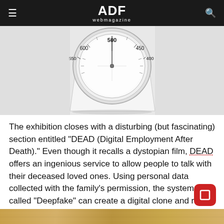ADF webmagazine
[Figure (photo): White mechanical kitchen scale with analog dial showing numbers 400-600, on a white surface. The image is cropped to show the upper portion of the scale.]
The exhibition closes with a disturbing (but fascinating) section entitled "DEAD (Digital Employment After Death)." Even though it recalls a dystopian film, DEAD offers an ingenious service to allow people to talk with their deceased loved ones. Using personal data collected with the family's permission, the system called "Deepfake" can create a digital clone and revive the dead.